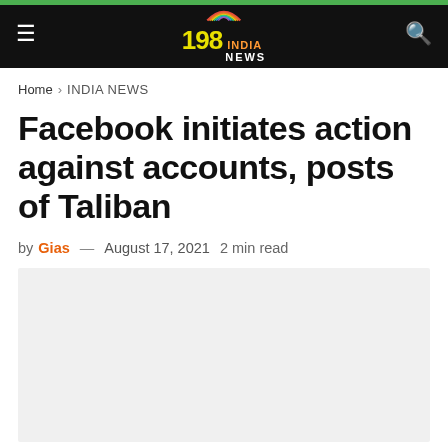198 India News
Home > INDIA NEWS
Facebook initiates action against accounts, posts of Taliban
by Gias — August 17, 2021  2 min read
[Figure (photo): Gray placeholder image area below the article byline]